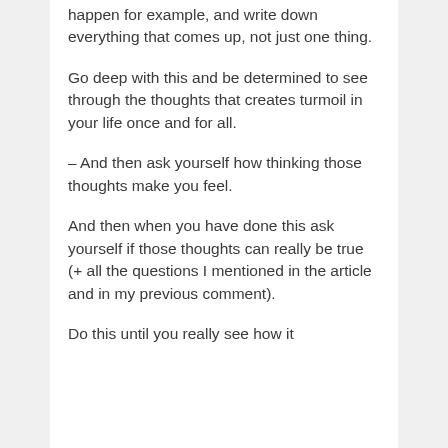happen for example, and write down everything that comes up, not just one thing.
Go deep with this and be determined to see through the thoughts that creates turmoil in your life once and for all.
– And then ask yourself how thinking those thoughts make you feel.
And then when you have done this ask yourself if those thoughts can really be true (+ all the questions I mentioned in the article and in my previous comment).
Do this until you really see how it